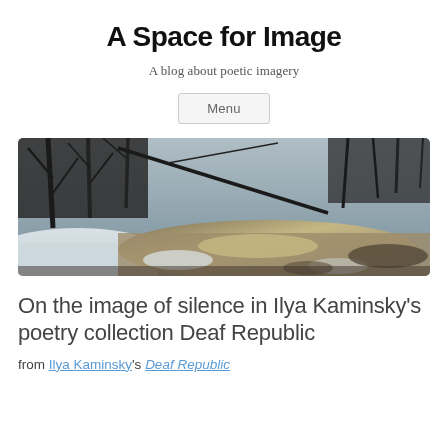A Space for Image
A blog about poetic imagery
Menu
[Figure (photo): A winter landscape photograph showing a snow-covered riverbank with bare trees, dark branches, and a frozen or partially frozen stream with sandy/muddy patches visible.]
On the image of silence in Ilya Kaminsky's poetry collection Deaf Republic
from Ilya Kaminsky's Deaf Republic